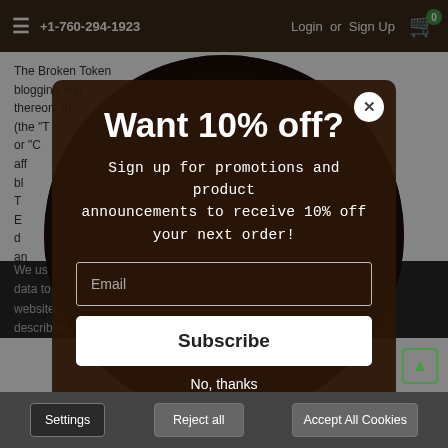+1-760-294-1923   Login or Sign Up
The Broken Token... blogging and... content posted thereon, th... s of use (the "T... "Us," or "C... er aff... y bl... f T... E... d... an... Yo... f
[Figure (screenshot): Dark brown circular board game image in background]
We us... ect data to... our website, y... us described in o...
Want 10% off?
Sign up for promotions and product announcements to receive 10% off your next order!
Email
Subscribe
No, thanks
Settings   Reject all   Accept All Cookies